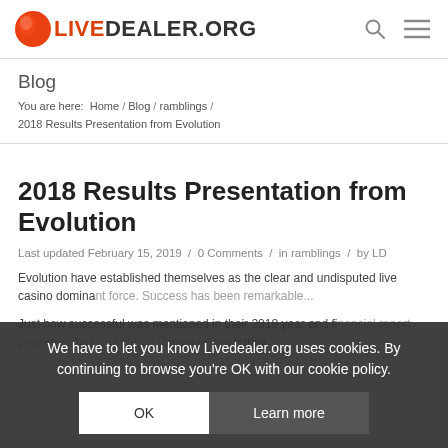LIVEDEALER.ORG
Blog
You are here: Home / Blog / ramblings / 2018 Results Presentation from Evolution
2018 Results Presentation from Evolution
Last updated February 15, 2019 / 0 Comments / in ramblings / by LD
Evolution have established themselves as the clear and undisputed live casino dominant force. Success has been remarkable...
Just how successful was mentioned in their 2018 year end financial report, presented by CEO Martin Carlesund yesterday.
We have to let you know Livedealer.org uses cookies. By continuing to browse you're OK with our cookie policy.